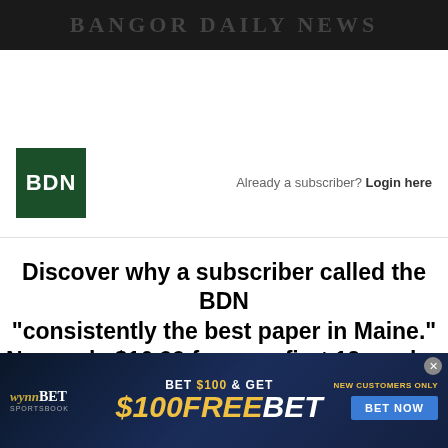BANGOR DAILY NEWS
[Figure (logo): BDN (Bangor Daily News) green square logo with white text]
Already a subscriber? Login here
Discover why a subscriber called the BDN "consistently the best paper in Maine." Now only $16.99 for your first 13 weeks.
[Figure (illustration): WynnBET Sportsbook advertisement banner: BET $100 & GET $100 FREE BET, NEW CUSTOMERS ONLY, BET NOW button]